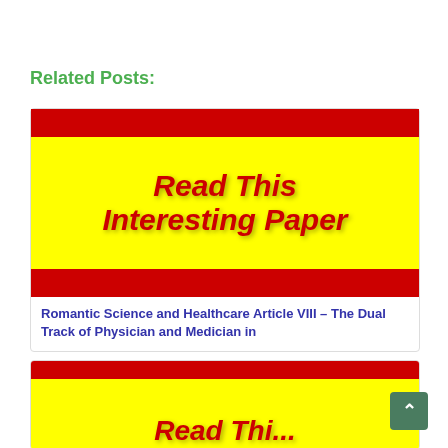Related Posts:
[Figure (illustration): Yellow banner image with red horizontal bars at top and bottom, and bold red italic text reading 'Read This Interesting Paper' on yellow background]
Romantic Science and Healthcare Article VIII – The Dual Track of Physician and Medician in
[Figure (illustration): Partially visible yellow banner with red top bar, bottom cut off, showing partial bold red italic text]